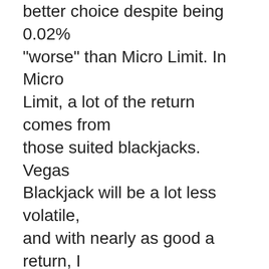better choice despite being 0.02% "worse" than Micro Limit. In Micro Limit, a lot of the return comes from those suited blackjacks. Vegas Blackjack will be a lot less volatile, and with nearly as good a return, I would recommend this game instead.
4 Decks, BJ Pays 3:2, Dealer Stands on All 17s, Double Any 2 Cards, Double After Split, Split Once, Play 1 to 5 hands.
European Blackjack: The dealer does not take a hole card in this 8-deck game, which means that